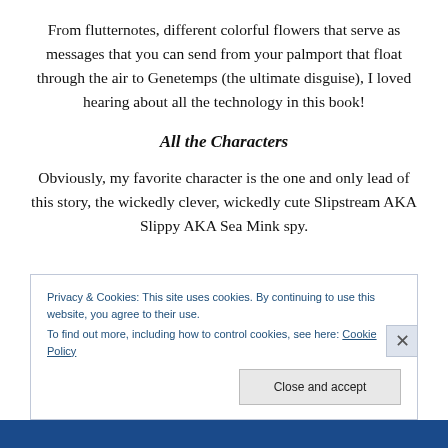From flutternotes, different colorful flowers that serve as messages that you can send from your palmport that float through the air to Genetemps (the ultimate disguise), I loved hearing about all the technology in this book!
All the Characters
Obviously, my favorite character is the one and only lead of this story, the wickedly clever, wickedly cute Slipstream AKA Slippy AKA Sea Mink spy.
Privacy & Cookies: This site uses cookies. By continuing to use this website, you agree to their use.
To find out more, including how to control cookies, see here: Cookie Policy